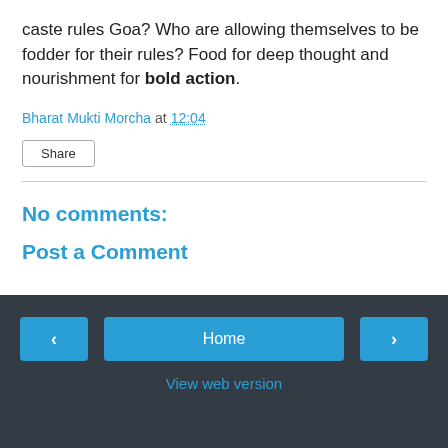caste rules Goa? Who are allowing themselves to be fodder for their rules? Food for deep thought and nourishment for bold action.
Bharat Mukti Morcha at 12:04
Share
No comments:
Post a Comment
Home
View web version